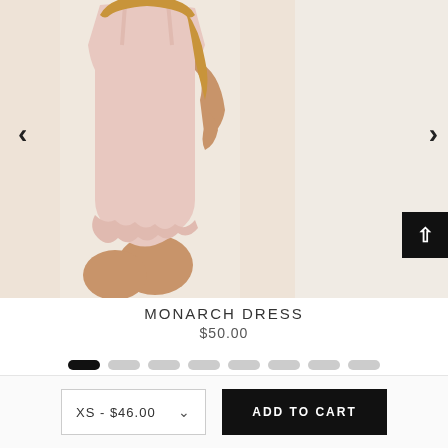[Figure (photo): Side profile of a female model wearing a light pink ruffle-hem mini dress (Monarch Dress) against a cream/white draped fabric background.]
MONARCH DRESS
$50.00
XS - $46.00  ADD TO CART